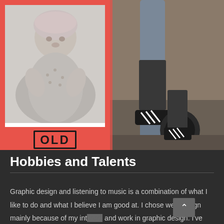[Figure (photo): Two side-by-side photos: left is a black-and-white photo of a baby lying down with a pink/coral frame and 'OLD' text label at the bottom; right is a color photo of a person's legs near gym equipment (Adidas shoes visible).]
Hobbies and Talents
Graphic design and listening to music is a combination of what I like to do and what I believe I am good at. I chose web design mainly because of my interest and work in graphic design. I've done a lot of posters, websites and extra work exploring with Canva and